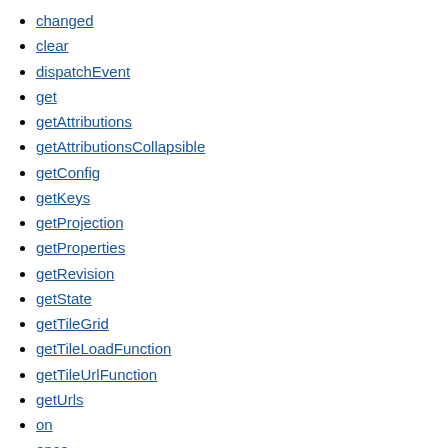changed
clear
dispatchEvent
get
getAttributions
getAttributionsCollapsible
getConfig
getKeys
getProjection
getProperties
getRevision
getState
getTileGrid
getTileLoadFunction
getTileUrlFunction
getUrls
on
once
refresh
set
setAttributions
setConfig
setProperties
setRenderReprojectionEdges